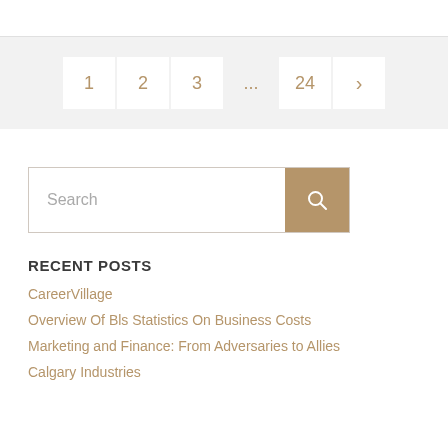[Figure (other): Pagination navigation with page buttons: 1, 2, 3, ..., 24, and a next arrow (>). Displayed on a light grey background. Page buttons are white boxes with tan/gold colored numbers.]
[Figure (other): Search bar with placeholder text 'Search' and a tan/brown search button with a magnifying glass icon on the right.]
RECENT POSTS
CareerVillage
Overview Of Bls Statistics On Business Costs
Marketing and Finance: From Adversaries to Allies
Calgary Industries